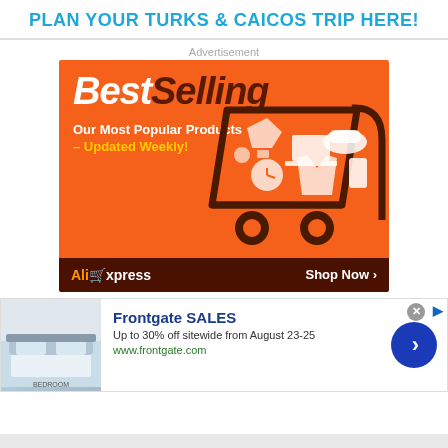PLAN YOUR TURKS & CAICOS TRIP HERE!
Advertisement
[Figure (illustration): AliExpress Best Selling ad banner: orange background with shopping cart containing various products (laptop, hat, phone, clothing, clock, tools). Text reads 'Best Selling - Our Most Popular Products – Updated Weekly!' with AliExpress logo and 'Shop Now ›' button on dark brown footer.]
[Figure (illustration): Frontgate SALES advertisement: shows bedroom image on left, with text 'Frontgate SALES', 'Up to 30% off sitewide from August 23-25', 'www.frontgate.com', and a blue circular arrow button on right. Close (x) and small arrow icons at top right.]